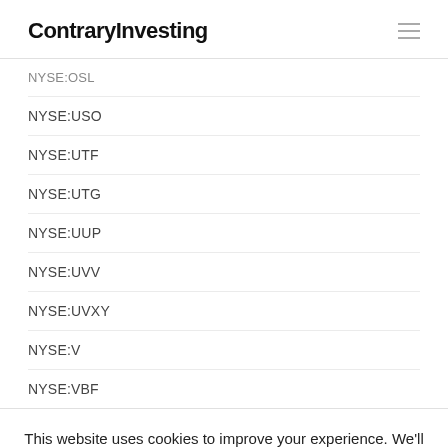ContraryInvesting
NYSE:OSL
NYSE:USO
NYSE:UTF
NYSE:UTG
NYSE:UUP
NYSE:UVV
NYSE:UVXY
NYSE:V
NYSE:VBF
This website uses cookies to improve your experience. We'll assume you're ok with this, but you can opt-out if you wish.
Cookie settings
ACCEPT